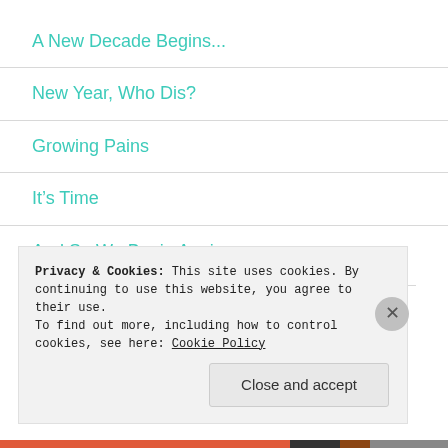A New Decade Begins...
New Year, Who Dis?
Growing Pains
It's Time
And So We Begin Again...
Privacy & Cookies: This site uses cookies. By continuing to use this website, you agree to their use.
To find out more, including how to control cookies, see here: Cookie Policy
Close and accept